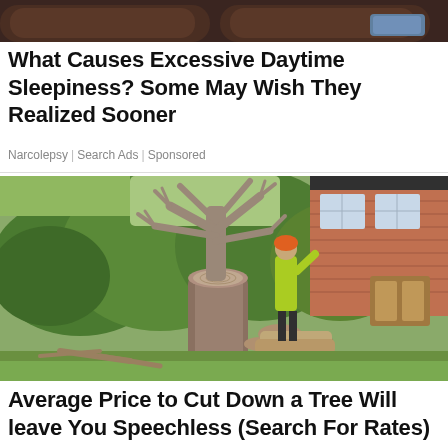[Figure (photo): Partial view of a dark brown couch or upholstered furniture, cropped at top of page]
What Causes Excessive Daytime Sleepiness? Some May Wish They Realized Sooner
Narcolepsy | Search Ads | Sponsored
[Figure (photo): A tree surgeon in a high-visibility yellow jacket and orange hard hat working on a heavily pruned tree. A large tree stump is visible in the foreground with cut logs around it. A red brick house is visible in the background with green garden.]
Average Price to Cut Down a Tree Will leave You Speechless (Search For Rates)